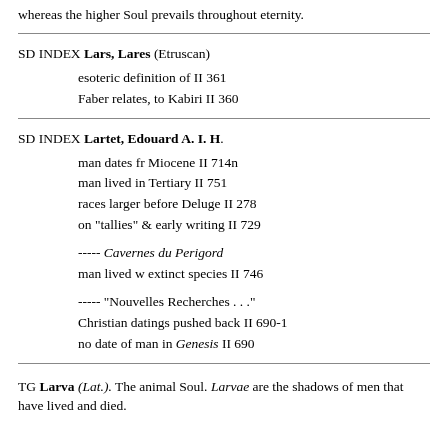whereas the higher Soul prevails throughout eternity.
SD INDEX Lars, Lares (Etruscan)
esoteric definition of II 361
Faber relates, to Kabiri II 360
SD INDEX Lartet, Edouard A. I. H.
man dates fr Miocene II 714n
man lived in Tertiary II 751
races larger before Deluge II 278
on "tallies" & early writing II 729
----- Cavernes du Perigord
man lived w extinct species II 746
----- "Nouvelles Recherches . . ."
Christian datings pushed back II 690-1
no date of man in Genesis II 690
TG Larva (Lat.). The animal Soul. Larvae are the shadows of men that have lived and died.